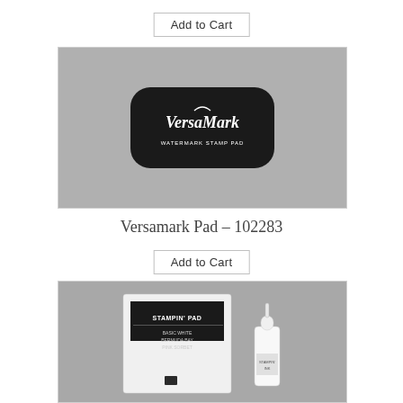[Figure (other): Button labeled 'Add to Cart' with a light border]
[Figure (photo): VersaMark watermark stamp pad — black rectangular pad with white VersaMark logo on a grey background]
Versamark Pad – 102283
[Figure (other): Button labeled 'Add to Cart' with a light border]
[Figure (photo): Stampin' Pad — white square stamp pad with black label reading STAMPIN' PAD, and a small white ink refill bottle, on a grey background]